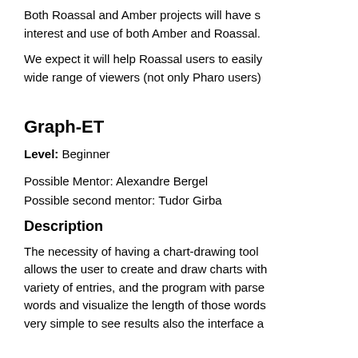Both Roassal and Amber projects will have s... interest and use of both Amber and Roassal.
We expect it will help Roassal users to easily... wide range of viewers (not only Pharo users)
Graph-ET
Level: Beginner
Possible Mentor: Alexandre Bergel
Possible second mentor: Tudor Girba
Description
The necessity of having a chart-drawing tool... allows the user to create and draw charts with... variety of entries, and the program with parse... words and visualize the length of those words... very simple to see results also the interface a